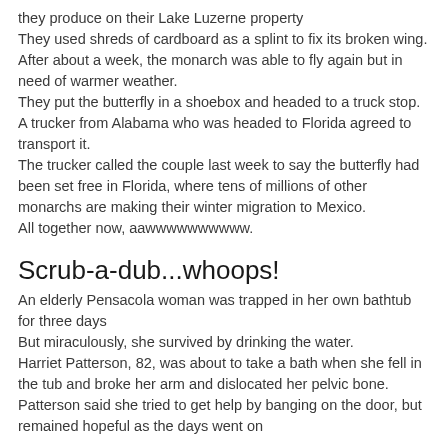they produce on their Lake Luzerne property
They used shreds of cardboard as a splint to fix its broken wing.
After about a week, the monarch was able to fly again but in need of warmer weather.
They put the butterfly in a shoebox and headed to a truck stop.
A trucker from Alabama who was headed to Florida agreed to transport it.
The trucker called the couple last week to say the butterfly had been set free in Florida, where tens of millions of other monarchs are making their winter migration to Mexico.
All together now, aawwwwwwwwww.
Scrub-a-dub...whoops!
An elderly Pensacola woman was trapped in her own bathtub for three days
But miraculously, she survived by drinking the water.
Harriet Patterson, 82, was about to take a bath when she fell in the tub and broke her arm and dislocated her pelvic bone.
Patterson said she tried to get help by banging on the door, but remained hopeful as the days went on